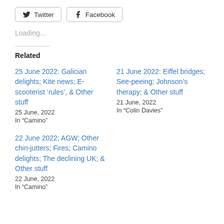[Figure (other): Twitter and Facebook social share buttons]
Loading...
Related
25 June 2022: Galician delights; Kite news; E-scooterist ‘rules’, & Other stuff
25 June, 2022
In "Camino"
21 June 2022: Eiffel bridges; See-peeing; Johnson’s therapy; & Other stuff
21 June, 2022
In "Colin Davies"
22 June 2022; AGW; Other chin-jutters; Fires; Camino delights; The declining UK; & Other stuff
22 June, 2022
In "Camino"